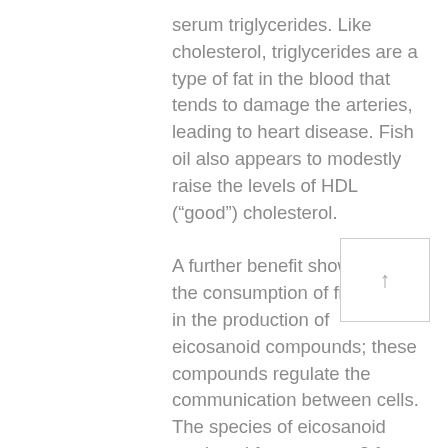serum triglycerides. Like cholesterol, triglycerides are a type of fat in the blood that tends to damage the arteries, leading to heart disease. Fish oil also appears to modestly raise the levels of HDL (“good”) cholesterol. A further benefit shown from the consumption of fish oil is in the production of eicosanoid compounds; these compounds regulate the communication between cells. The species of eicosanoid produced from omega-3 fatty acids, as opposed to omega-6 fatty acids, seem to better regulate immunological responses, such as
[Figure (other): A scroll-to-top button with an upward arrow inside a rectangular box]